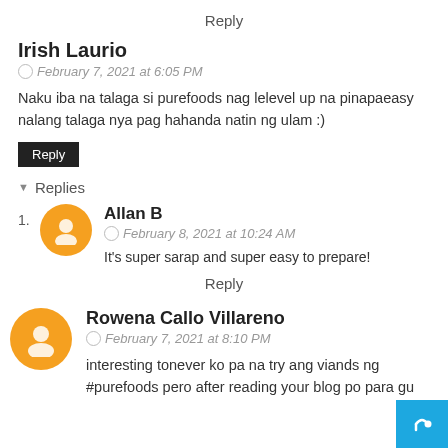Reply
Irish Laurio
February 7, 2021 at 6:05 PM
Naku iba na talaga si purefoods nag lelevel up na pinapaeasy nalang talaga nya pag hahanda natin ng ulam :)
Reply
Replies
Allan B — February 8, 2021 at 10:24 AM — It's super sarap and super easy to prepare!
Reply
Rowena Callo Villareno
February 7, 2021 at 8:10 PM
interesting to…never ko pa na try ang viands ng #purefoods pero after reading your blog po para gu…